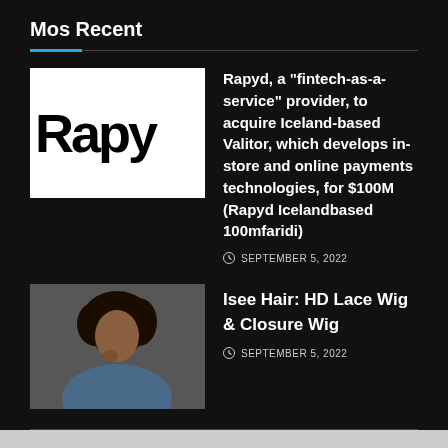Mos Recent
[Figure (logo): Rapyd logo - white background with black bold text 'Rapyd' partially cropped]
Rapyd, a “fintech-as-a-service” provider, to acquire Iceland-based Valitor, which develops in-store and online payments technologies, for $100M (Rapyd Icelandbased 100mfaridi)
SEPTEMBER 5, 2022
[Figure (photo): Photo of a woman with curly hair]
Isee Hair: HD Lace Wig & Closure Wig
SEPTEMBER 5, 2022
About / Privacy Policy / Contact Us
© 2020 Uggs Canada Ugg